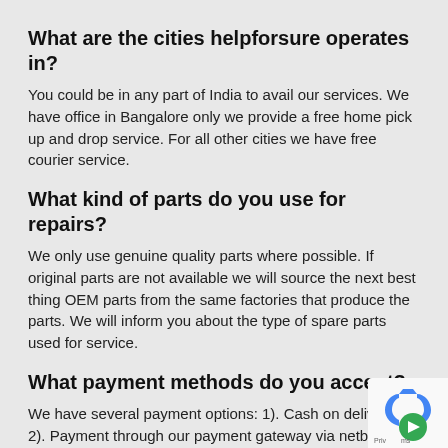What are the cities helpforsure operates in?
You could be in any part of India to avail our services. We have office in Bangalore only we provide a free home pick up and drop service. For all other cities we have free courier service.
What kind of parts do you use for repairs?
We only use genuine quality parts where possible. If original parts are not available we will source the next best thing OEM parts from the same factories that produce the parts. We will inform you about the type of spare parts used for service.
What payment methods do you accept?
We have several payment options: 1). Cash on delivery, 2). Payment through our payment gateway via netbanking or debit/credit card, 3). Paytm
How does hepforsure work?